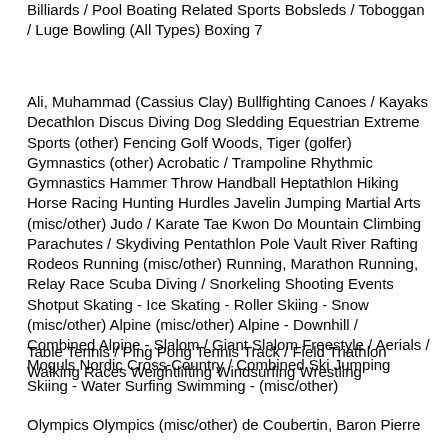Billiards / Pool Boating Related Sports Bobsleds / Toboggan / Luge Bowling (All Types) Boxing 7
Ali, Muhammad (Cassius Clay) Bullfighting Canoes / Kayaks Decathlon Discus Diving Dog Sledding Equestrian Extreme Sports (other) Fencing Golf Woods, Tiger (golfer) Gymnastics (other) Acrobatic / Trampoline Rhythmic Gymnastics Hammer Throw Handball Heptathlon Hiking Horse Racing Hunting Hurdles Javelin Jumping Martial Arts (misc/other) Judo / Karate Tae Kwon Do Mountain Climbing Parachutes / Skydiving Pentathlon Pole Vault River Rafting Rodeos Running (misc/other) Running, Marathon Running, Relay Race Scuba Diving / Snorkeling Shooting Events Shotput Skating - Ice Skating - Roller Skiing - Snow (misc/other) Alpine (misc/other) Alpine - Downhill / Combined Alpine - Slalom / Giant Slalom Freestyle / Aerials / Moguls Nordic Cross-Country / Combined Ski Jumping Skiing - Water Surfing Swimming - (misc/other)
Table Tennis / Ping Pong Tennis Track / Field Triathlon Walking Races Weightlifting Windsurfing Wrestling
Olympics Olympics (misc/other) de Coubertin, Baron Pierre